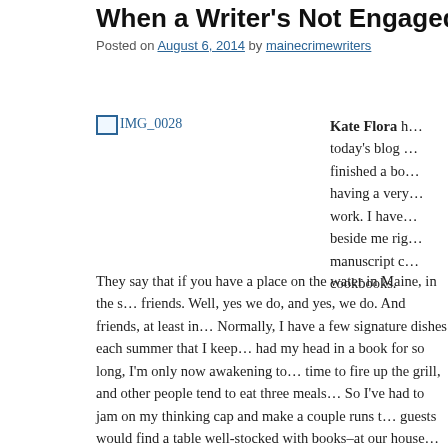When a Writer's Not Engaged in Her Emp…
Posted on August 6, 2014 by mainecrimewriters
[Figure (photo): IMG_0028 image placeholder]
Kate Flora h… today's blog … finished a bo… having a very… work. I have… beside me rig… manuscript c… cookbooks.
They say that if you have a place on the water in Maine, in the s… friends. Well, yes we do, and yes, we do. And friends, at least in… Normally, I have a few signature dishes each summer that I keep… had my head in a book for so long, I'm only now awakening to… time to fire up the grill, and other people tend to eat three meals… So I've had to jam on my thinking cap and make a couple runs t… guests would find a table well-stocked with books–at our house… even use stacks of books for doorstops, and very little food…